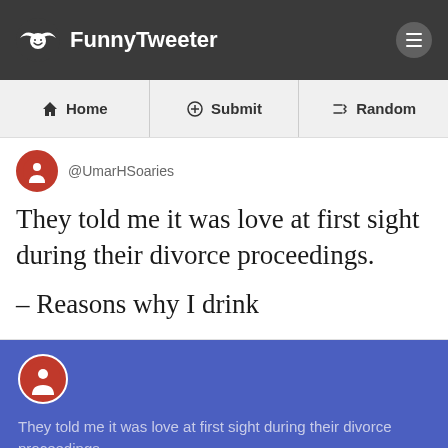FunnyTweeter
Home | Submit | Random
@UmarHSoaries
They told me it was love at first sight during their divorce proceedings.
– Reasons why I drink
They told me it was love at first sight during their divorce proceedings.
– Reasons why I drink
- @UmarHSoaries